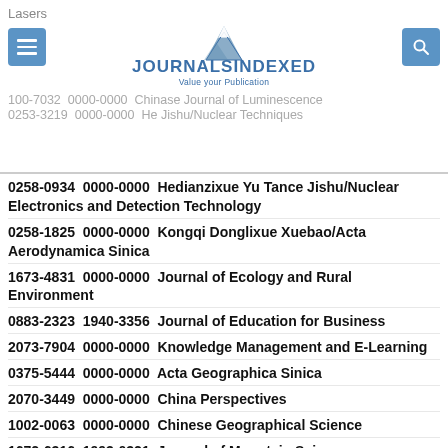Lasers
0258-0934  0000-0000  Hedianzixue Yu Tance Jishu/Nuclear Electronics and Detection Technology
0258-1825  0000-0000  Kongqi Donglixue Xuebao/Acta Aerodynamica Sinica
1673-4831  0000-0000  Journal of Ecology and Rural Environment
0883-2323  1940-3356  Journal of Education for Business
2073-7904  0000-0000  Knowledge Management and E-Learning
0375-5444  0000-0000  Acta Geographica Sinica
2070-3449  0000-0000  China Perspectives
1002-0063  0000-0000  Chinese Geographical Science
1672-6316  1993-0321  Journal of Mountain Science
1007-4619  0000-0000  Yaogan Xuebao/Journal of Remote Sensing
1017-1274  0000-0000  Studies in Chinese Linguistics
1009-6744  0000-0000  Jiaotong Yunshu Xitong Gongcheng Yu Xinxi/ Journal of Transportation Systems Engineering and Information Technology